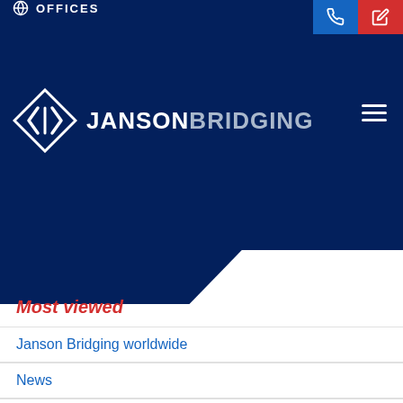OFFICES
[Figure (logo): Janson Bridging logo with diamond-shaped icon and company name text]
Most viewed
Janson Bridging worldwide
News
About us
Contact